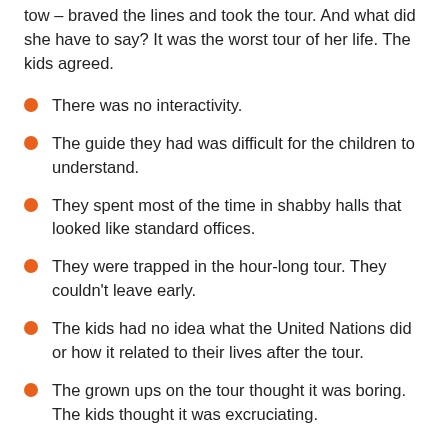tow – braved the lines and took the tour. And what did she have to say? It was the worst tour of her life. The kids agreed.
There was no interactivity.
The guide they had was difficult for the children to understand.
They spent most of the time in shabby halls that looked like standard offices.
They were trapped in the hour-long tour. They couldn't leave early.
The kids had no idea what the United Nations did or how it related to their lives after the tour.
The grown ups on the tour thought it was boring. The kids thought it was excruciating.